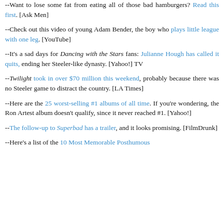--Want to lose some fat from eating all of those bad hamburgers? Read this first. [Ask Men]
--Check out this video of young Adam Bender, the boy who plays little league with one leg. [YouTube]
--It's a sad days for Dancing with the Stars fans: Julianne Hough has called it quits, ending her Steeler-like dynasty. [Yahoo!] TV
--Twilight took in over $70 million this weekend, probably because there was no Steeler game to distract the country. [LA Times]
--Here are the 25 worst-selling #1 albums of all time. If you're wondering, the Ron Artest album doesn't qualify, since it never reached #1. [Yahoo!]
--The follow-up to Superbad has a trailer, and it looks promising. [FilmDrunk]
--Here's a list of the 10 Most Memorable Posthumous